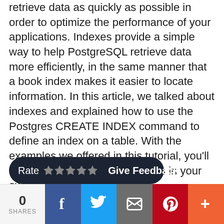retrieve data as quickly as possible in order to optimize the performance of your applications. Indexes provide a simple way to help PostgreSQL retrieve data more efficiently, in the same manner that a book index makes it easier to locate information. In this article, we talked about indexes and explained how to use the Postgres CREATE INDEX command to define an index on a table. With the examples we offered in this tutorial, you'll have no trouble utilizing indexes in your own PostgreSQL database.
[Figure (infographic): Dark rounded rating bar with 'Rate' label, star icons, a vertical divider, and 'Give Feedback' text in white on dark background]
[Figure (infographic): Social share bar showing 0 SHARES count, Facebook, Twitter, Email, Pinterest, and More (+) share buttons in respective brand colors]